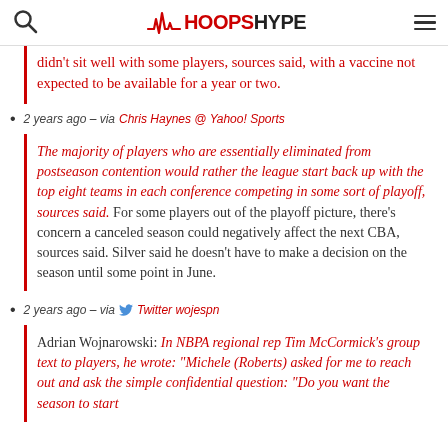HoopsHype
didn't sit well with some players, sources said, with a vaccine not expected to be available for a year or two.
2 years ago – via Chris Haynes @ Yahoo! Sports
The majority of players who are essentially eliminated from postseason contention would rather the league start back up with the top eight teams in each conference competing in some sort of playoff, sources said. For some players out of the playoff picture, there's concern a canceled season could negatively affect the next CBA, sources said. Silver said he doesn't have to make a decision on the season until some point in June.
2 years ago – via Twitter wojespn
Adrian Wojnarowski: In NBPA regional rep Tim McCormick's group text to players, he wrote: "Michele (Roberts) asked for me to reach out and ask the simple confidential question: 'Do you want the season to start'